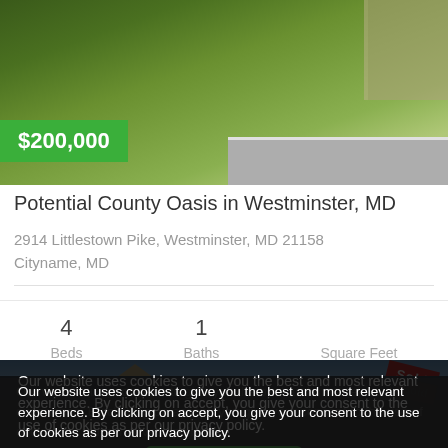[Figure (photo): Exterior photo of property showing green grass lawn and road, with $200,000 price badge overlay]
Potential County Oasis in Westminster, MD
2914 Littlestown Pike, Westminster, MD 21158
Cityname, MD
| Beds | Baths | Square Feet |
| --- | --- | --- |
| 4 | 1 |  |
[Figure (photo): Exterior photo of a house with blue sky, with a red sold ribbon in the upper right corner]
Our website uses cookies to give you the best and most relevant experience. By clicking on accept, you give your consent to the use of cookies as per our privacy policy.